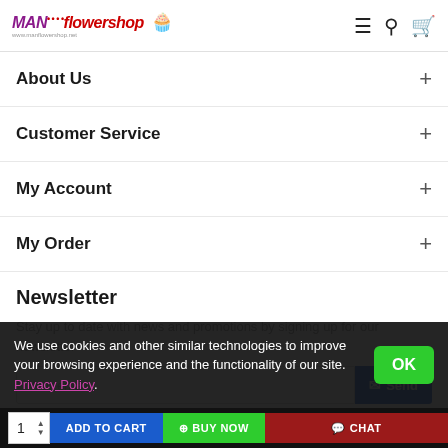MANflowershop — navigation header with menu, search, and cart icons
About Us
Customer Service
My Account
My Order
Newsletter
Stay up to date with news and promotions by signing up for our newsletter
We use cookies and other similar technologies to improve your browsing experience and the functionality of our site. Privacy Policy.